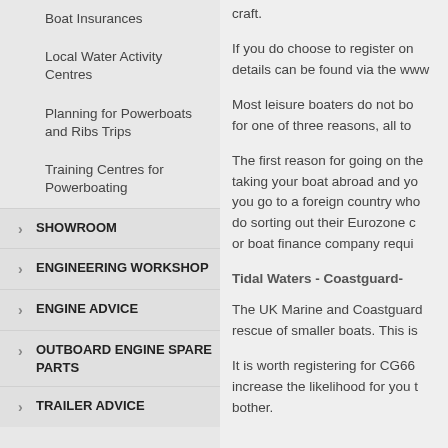Boat Insurances
Local Water Activity Centres
Planning for Powerboats and Ribs Trips
Training Centres for Powerboating
SHOWROOM
ENGINEERING WORKSHOP
ENGINE ADVICE
OUTBOARD ENGINE SPARE PARTS
TRAILER ADVICE
craft.
If you do choose to register on details can be found via the www
Most leisure boaters do not bo for one of three reasons, all to
The first reason for going on the taking your boat abroad and yo you go to a foreign country who do sorting out their Eurozone c or boat finance company requi
Tidal Waters - Coastguard-
The UK Marine and Coastguard rescue of smaller boats. This is
It is worth registering for CG66 increase the likelihood for you t bother.